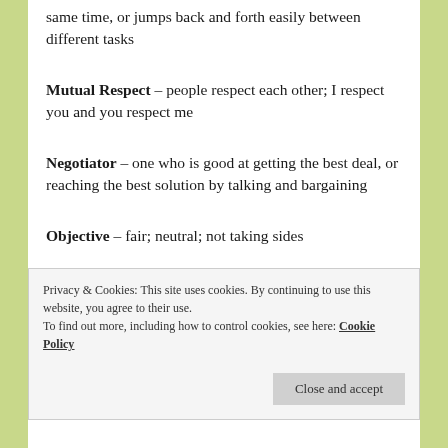same time, or jumps back and forth easily between different tasks
Mutual Respect – people respect each other; I respect you and you respect me
Negotiator – one who is good at getting the best deal, or reaching the best solution by talking and bargaining
Objective – fair; neutral; not taking sides
Privacy & Cookies: This site uses cookies. By continuing to use this website, you agree to their use. To find out more, including how to control cookies, see here: Cookie Policy
Close and accept